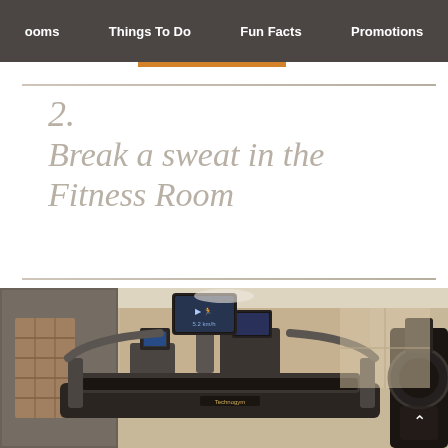ooms | Things To Do | Fun Facts | Promotions
2.
Break a sweat in the Fitness Room
[Figure (photo): Hotel fitness room with multiple treadmills and cardio equipment, mirrored walls, wooden shelving, and large windows. Close-up view of treadmill handles and monitors.]